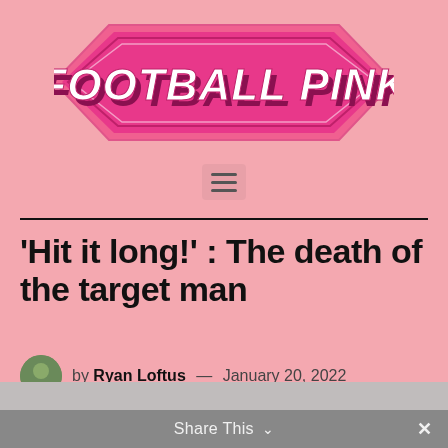[Figure (logo): Football Pink logo — a hot pink double-headed arrow sign with bold white italic text reading FOOTBALL PINK, with dark pink border and 3D shadow effect]
'Hit it long!' : The death of the target man
by Ryan Loftus — January 20, 2022
Share This